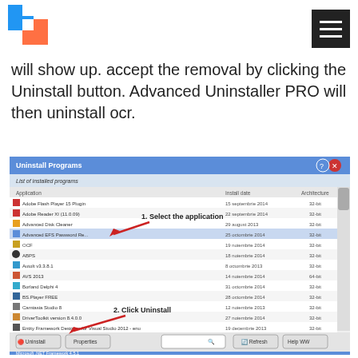[Logo and hamburger menu]
will show up. accept the removal by clicking the Uninstall button. Advanced Uninstaller PRO will then uninstall ocr.
[Figure (screenshot): Screenshot of Advanced Uninstaller PRO 'Uninstall Programs' window showing a list of installed applications including Adobe Flash Player, Adobe Reader, Advanced Disk Cleaner, Advanced EFS Password Recovery, OCF, ABPS, AutoIt, AVS 2013, Borland Delphi 4, BS.Player FREE, Camtasia Studio 8, DriverToolkit, Entity Framework Designer, Google Chrome, Google Earth Plug-in. Annotated with '1. Select the application' arrow pointing to application list and '2. Click Uninstall' arrow pointing to Uninstall button at bottom.]